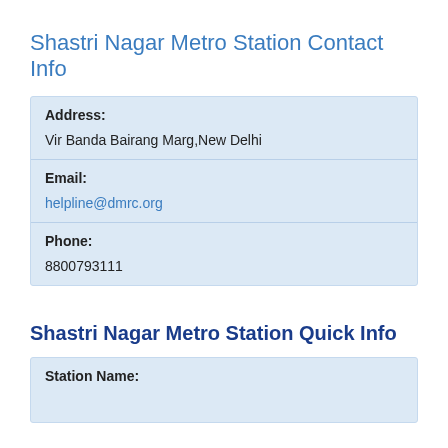Shastri Nagar Metro Station Contact Info
| Address: | Vir Banda Bairang Marg,New Delhi |
| Email: | helpline@dmrc.org |
| Phone: | 8800793111 |
Shastri Nagar Metro Station Quick Info
| Station Name: |  |